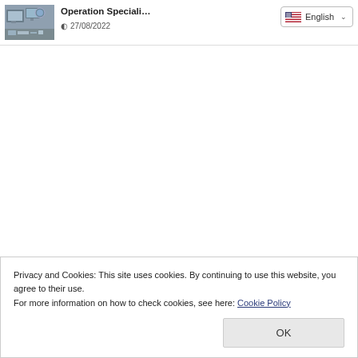[Figure (photo): Thumbnail image of a person working at a computer workstation with multiple monitors]
Operation Speciali…
27/08/2022
English
Privacy and Cookies: This site uses cookies. By continuing to use this website, you agree to their use.
For more information on how to check cookies, see here: Cookie Policy
OK